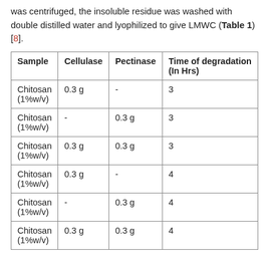was centrifuged, the insoluble residue was washed with double distilled water and lyophilized to give LMWC (Table 1) [8].
| Sample | Cellulase | Pectinase | Time of degradation (In Hrs) |
| --- | --- | --- | --- |
| Chitosan (1%w/v) | 0.3 g | - | 3 |
| Chitosan (1%w/v) | - | 0.3 g | 3 |
| Chitosan (1%w/v) | 0.3 g | 0.3 g | 3 |
| Chitosan (1%w/v) | 0.3 g | - | 4 |
| Chitosan (1%w/v) | - | 0.3 g | 4 |
| Chitosan (1%w/v) | 0.3 g | 0.3 g | 4 |